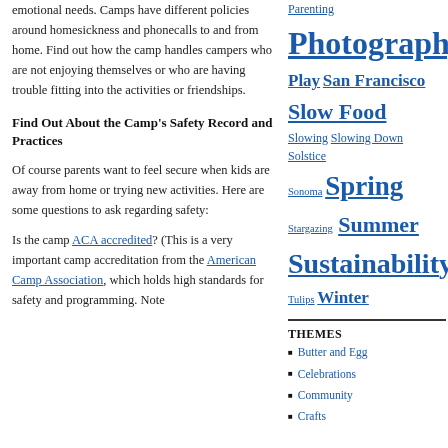emotional needs. Camps have different policies around homesickness and phonecalls to and from home. Find out how the camp handles campers who are not enjoying themselves or who are having trouble fitting into the activities or friendships.
Find Out About the Camp's Safety Record and Practices
Of course parents want to feel secure when kids are away from home or trying new activities. Here are some questions to ask regarding safety:
Is the camp ACA accredited? (This is a very important camp accreditation from the American Camp Association, which holds high standards for safety and programming. Note
[Figure (other): Tag cloud on the right sidebar containing links: Parenting, Photography, Play, San Francisco, Slow Food, Slowing, Slowing Down, Solstice, Sonoma, Spring, Stargazing, Summer, Sustainability, Tulips, Winter]
THEMES
Butter and Egg
Celebrations
Community
Crafts